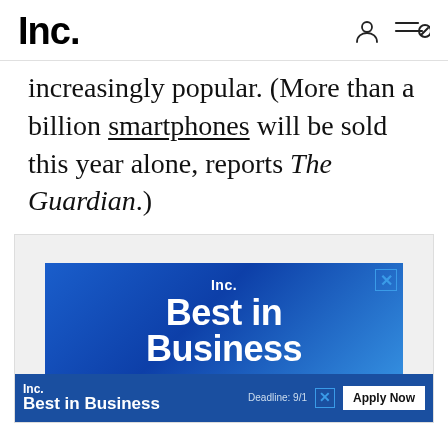Inc.
increasingly popular. (More than a billion smartphones will be sold this year alone, reports The Guardian.)
[Figure (illustration): Inc. Best in Business advertisement banner with blue gradient background. Shows 'Inc.' logo, 'Best in Business' large bold text, subtitle 'For companies that go above and beyond to make a positive impact'. Bottom bar has Inc. Best in Business logo, Deadline: 9/1 text, close button, and Apply Now button.]